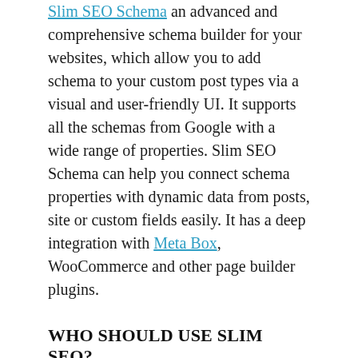Slim SEO Schema an advanced and comprehensive schema builder for your websites, which allow you to add schema to your custom post types via a visual and user-friendly UI. It supports all the schemas from Google with a wide range of properties. Slim SEO Schema can help you connect schema properties with dynamic data from posts, site or custom fields easily. It has a deep integration with Meta Box, WooCommerce and other page builder plugins.
WHO SHOULD USE SLIM SEO?
Everyone can use Slim SEO!
However, Slim SEO is perfectly suitable for users who prefer simplicity or do not like the complicated options that other SEO plugins provide. It's also a good choice for users with little SEO knowledge and just want to use SEO plugins to automate their jobs